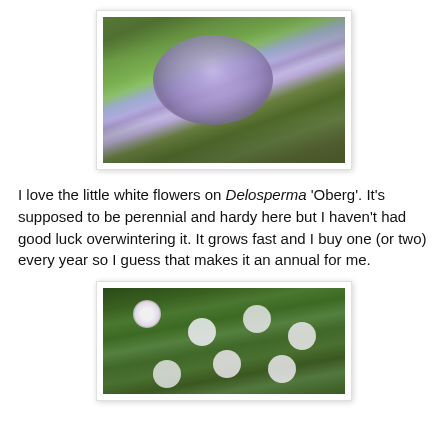[Figure (photo): Close-up photograph of blue-purple Phacelia or similar flowers with feathery petals against green foliage background]
I love the little white flowers on Delosperma 'Oberg'. It's supposed to be perennial and hardy here but I haven't had good luck overwintering it. It grows fast and I buy one (or two) every year so I guess that makes it an annual for me.
[Figure (photo): Photograph of Delosperma 'Oberg' plant with small white daisy-like flowers amid dense green succulent foliage]